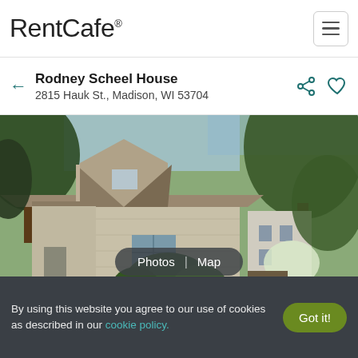RentCafe®
Rodney Scheel House
2815 Hauk St., Madison, WI 53704
[Figure (photo): Exterior photo of Rodney Scheel House at 2815 Hauk St., Madison WI — a beige/tan single-story building with a peaked roof, the number 2815 on the facade, surrounded by large green trees and shrubs, with another building visible in the background right.]
By using this website you agree to our use of cookies as described in our cookie policy.